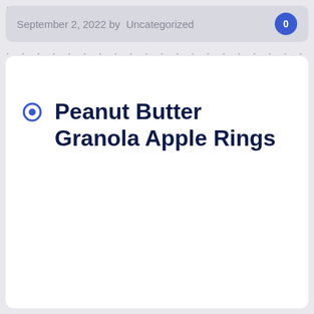September 2, 2022 by  Uncategorized
Peanut Butter Granola Apple Rings